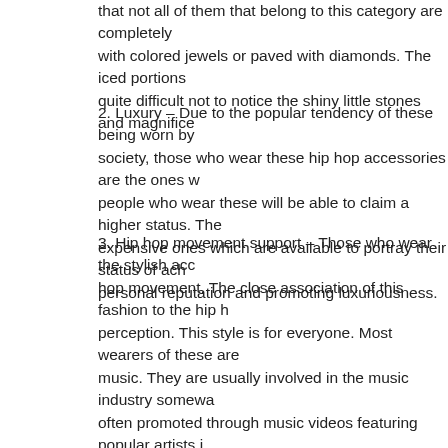that not all of them that belong to this category are completely with colored jewels or paved with diamonds. The iced portions quite difficult not to notice the shiny little stones and magnifice
2. Luxury – Due to the popular tendency of these being worn by society, those who wear these hip hop accessories are the ones w people who wear these will be able to claim a higher status. The expensive ones which are available to portray their status of ach personal reputation and promoting luxuriousness.
3. Hip hop movement support – Those who wear the stylish acc hop movement. The close association of this fashion to the hip h perception. This style is for everyone. Most wearers of these are music. They are usually involved in the music industry somewa often promoted through music videos featuring popular artists i that they are successful and tasteful. This is now being adopted important to create a good reputation in front of the audience, es business.